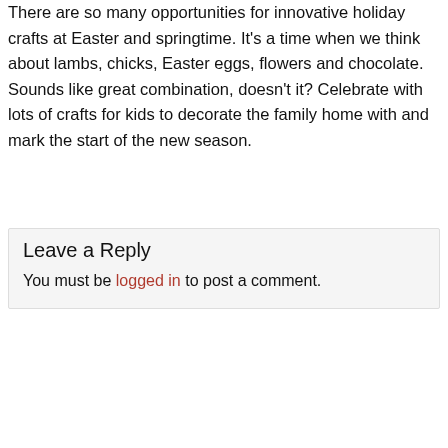There are so many opportunities for innovative holiday crafts at Easter and springtime. It's a time when we think about lambs, chicks, Easter eggs, flowers and chocolate. Sounds like great combination, doesn't it? Celebrate with lots of crafts for kids to decorate the family home with and mark the start of the new season.
Leave a Reply
You must be logged in to post a comment.